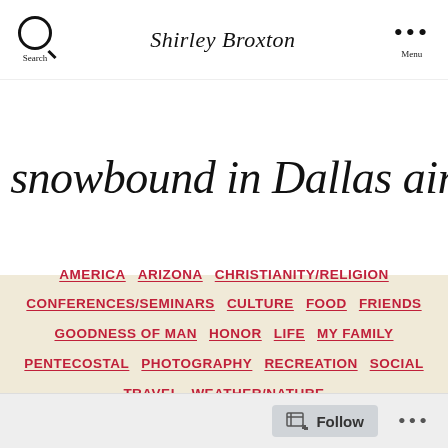Search | Shirley Broxton | Menu
Tag: snowbound in Dallas airport
AMERICA  ARIZONA  CHRISTIANITY/RELIGION  CONFERENCES/SEMINARS  CULTURE  FOOD  FRIENDS  GOODNESS OF MAN  HONOR  LIFE  MY FAMILY  PENTECOSTAL  PHOTOGRAPHY  RECREATION  SOCIAL  TRAVEL  WEATHER/NATURE
Follow  ...